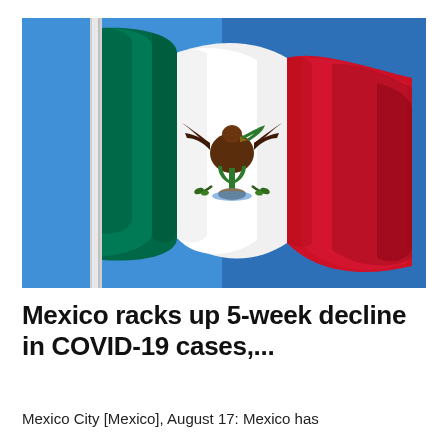[Figure (photo): Mexican flag waving on a flagpole against a clear blue sky, showing the green, white, and red vertical stripes with the national coat of arms (eagle on a cactus) in the center white stripe.]
Mexico racks up 5-week decline in COVID-19 cases,...
Mexico City [Mexico], August 17: Mexico has